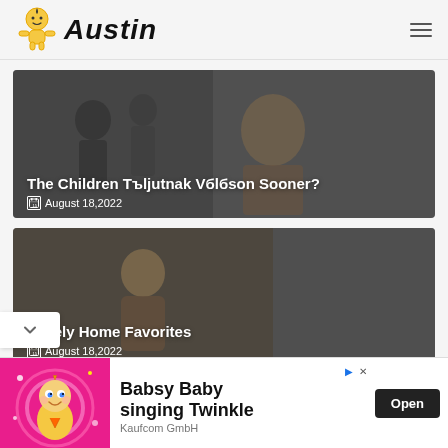Austin
[Figure (photo): Blog card: family scene with woman holding house illustration, semi-dark overlay. Title: 'The Children Тъljutnak Vбlбson Sooner?' Date: August 18,2022]
[Figure (photo): Blog card: child smiling, semi-dark overlay. Title: 'Lovely Home Favorites' Date: August 18,2022]
[Figure (illustration): Ad banner: Babsy Baby cartoon character on pink heart glowing background. Text: 'Babsy Baby singing Twinkle'. Sponsor: Kaufcom GmbH. Button: Open]